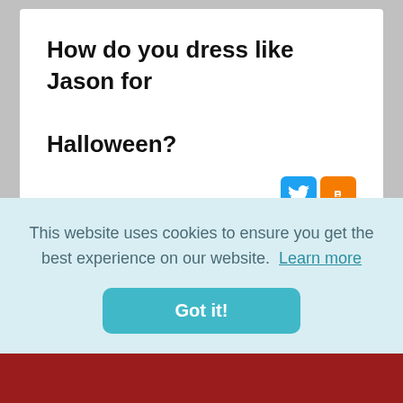How do you dress like Jason for Halloween?
[Figure (logo): Twitter and Blogger social sharing icons side by side]
In some of the later films, Jason's look evolved to include tattered black clothing and an oversized brown jacket. Snag a black button-down work shirt a basic pair of black trousers and rough them up yourself at
This website uses cookies to ensure you get the best experience on our website. Learn more
Got it!